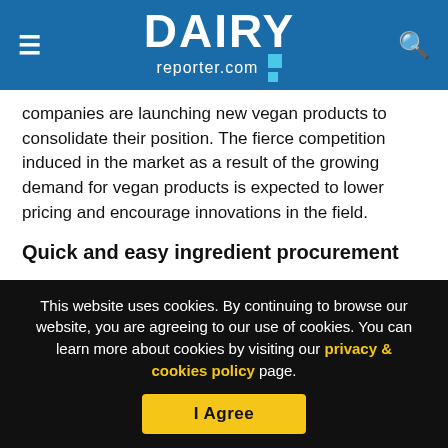DAIRY reporter.com
companies are launching new vegan products to consolidate their position. The fierce competition induced in the market as a result of the growing demand for vegan products is expected to lower pricing and encourage innovations in the field.
Quick and easy ingredient procurement
Vegan alternatives utilize soy, almond, coconut and other plant-based beverages for production. These ingredients are easily available, saving processors the volatilities associated
This website uses cookies. By continuing to browse our website, you are agreeing to our use of cookies. You can learn more about cookies by visiting our privacy & cookies policy page.
I Agree